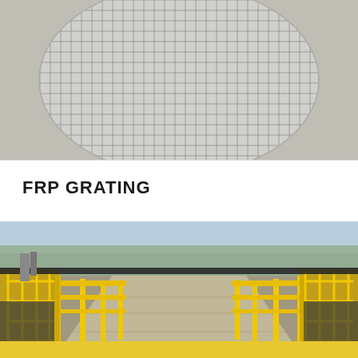[Figure (photo): Circular FRP grating panel with grid pattern, photographed on a white/grey surface]
FRP GRATING
[Figure (photo): Industrial walkway with yellow FRP handrail/railing systems flanking a concrete pathway over water treatment structures, with trees and industrial equipment in background]
[Figure (photo): Yellow partial strip visible at bottom edge]